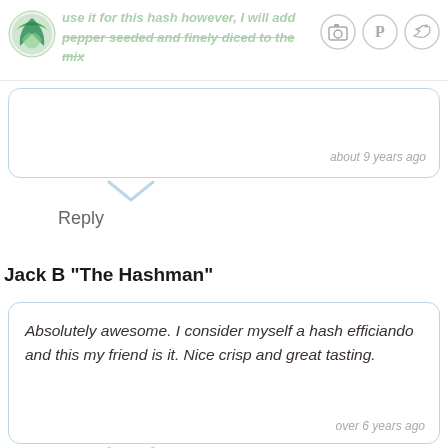use it for this hash however, I will add some pepper seeded and finely diced to the mix
about 9 years ago
Reply
Jack B "The Hashman"
Absolutely awesome. I consider myself a hash efficiando and this my friend is it. Nice crisp and great tasting.
over 6 years ago
Reply